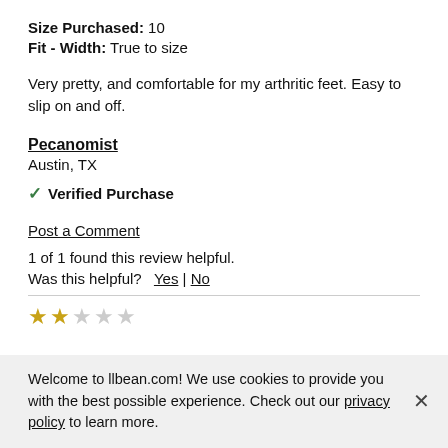Size Purchased: 10
Fit - Width: True to size
Very pretty, and comfortable for my arthritic feet. Easy to slip on and off.
Pecanomist
Austin, TX
✔ Verified Purchase
Post a Comment
1 of 1 found this review helpful.
Was this helpful?   Yes | No
[Figure (other): Star rating row showing 2 filled gold stars and 3 empty grey stars]
Welcome to llbean.com! We use cookies to provide you with the best possible experience. Check out our privacy policy to learn more.